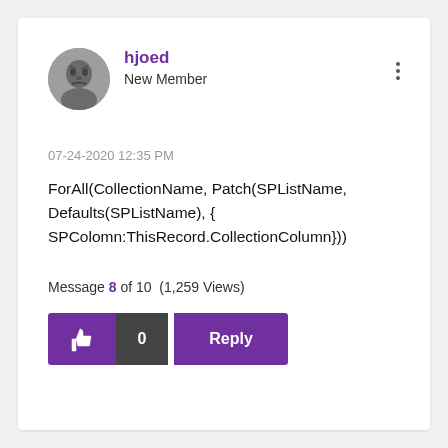[Figure (illustration): Round avatar image of a user profile picture showing a stylized face]
hjoed
New Member
07-24-2020 12:35 PM
ForAll(CollectionName, Patch(SPListName, Defaults(SPListName), { SPColomn:ThisRecord.CollectionColumn}))
Message 8 of 10 (1,259 Views)
[Figure (other): Like button (thumbs up icon, purple background), count badge showing 0 (dark background), and Reply button (purple background)]